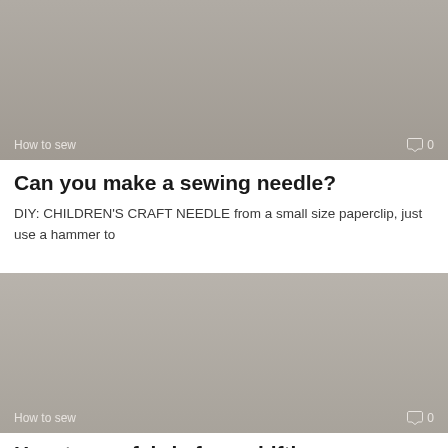[Figure (photo): Gray thumbnail image with 'How to sew' label and comment icon showing 0 comments in the bottom bar]
Can you make a sewing needle?
DIY: CHILDREN'S CRAFT NEEDLE from a small size paperclip, just use a hammer to
[Figure (photo): Gray thumbnail image with 'How to sew' label and comment icon showing 0 comments in the bottom bar]
How to use fabric for a shiftin...